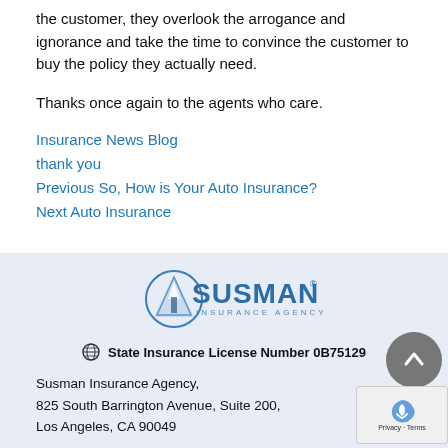the customer, they overlook the arrogance and ignorance and take the time to convince the customer to buy the policy they actually need.
Thanks once again to the agents who care.
Insurance News Blog
thank you
Previous So, How is Your Auto Insurance?
Next Auto Insurance
[Figure (logo): Susman Insurance Agency logo with stylized arrow/triangle and text]
State Insurance License Number 0B75129
Susman Insurance Agency,
825 South Barrington Avenue, Suite 200,
Los Angeles, CA 90049